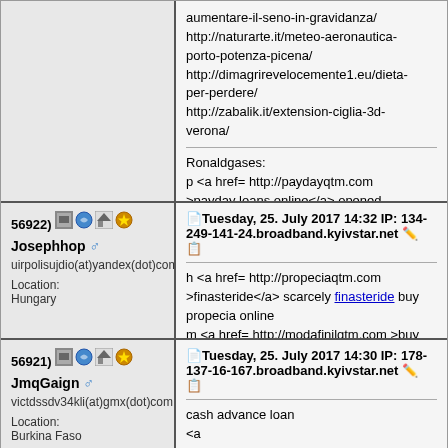aumentare-il-seno-in-gravidanza/ http://naturarte.it/meteo-aeronautica-porto-potenza-picena/ http://dimagrirevelocemente1.eu/dieta-per-perdere/ http://zabalik.it/extension-ciglia-3d-verona/

Ronaldgases:
p <a href= http://paydayqtm.com >payday loans online</a> opened payday loans texas online payday loans in washington state
56922) Josephhop uirpolisujdio(at)yandex(dot)com Location: Hungary
Tuesday, 25. July 2017 14:32 IP: 134-249-141-24.broadband.kyivstar.net
h <a href= http://propeciaqtm.com >finasteride</a> scarcely finasteride buy propecia online
m <a href= http://modafinilqtm.com >buy provigil online</a> keeping modafinil online buy provigil online
o <a href= http://canadapharmqtm.com >online pharmacy</a> perfect canadian pharmacy online canadian pharmacy viagra
56921) JmqGaign victdssdv34kli(at)gmx(dot)com Location: Burkina Faso
Tuesday, 25. July 2017 14:30 IP: 178-137-16-167.broadband.kyivstar.net
cash advance loan
<a href="http://cashadvancevrtb7.org/">cash advance usa</a>